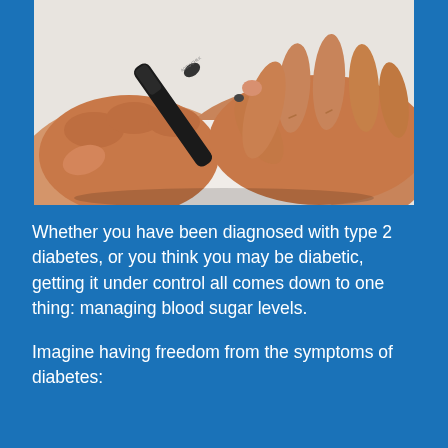[Figure (photo): Close-up photograph of two hands using a blood glucose meter/lancing device (Accu-Chek brand) to test blood sugar on a finger, against a white background.]
Whether you have been diagnosed with type 2 diabetes, or you think you may be diabetic, getting it under control all comes down to one thing: managing blood sugar levels.
Imagine having freedom from the symptoms of diabetes: